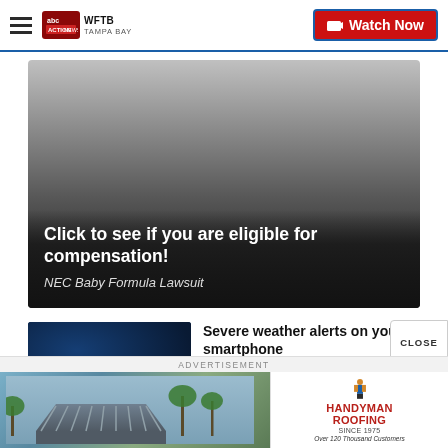WFTB TAMPA BAY — abc ACTION NEWS | Watch Now
[Figure (illustration): Advertisement banner with dark gradient background. Text overlay reads 'Click to see if you are eligible for compensation!' and subtitle 'NEC Baby Formula Lawsuit']
Click to see if you are eligible for compensation!
NEC Baby Formula Lawsuit
[Figure (photo): ABC Action News thumbnail image with dark blue background and 'abc ACTION NEWS' logo text in white]
Severe weather alerts on your smartphone
1:24 PM, Dec 17, 2018
ADVERTISEMENT
[Figure (photo): Advertisement for Handyman Roofing — photo of a house with metal roof and palm trees on left; Handyman Roofing logo on right with text 'Since 1975, Over 120 Thousand Customers']